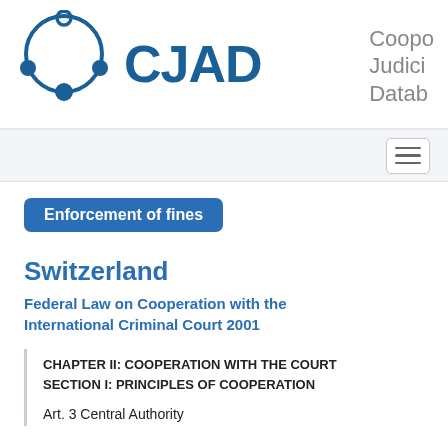[Figure (logo): CJAD logo with circular network icon and partial text 'Coope Judici Datab']
[Figure (other): Navigation hamburger menu button]
Enforcement of fines
Switzerland
Federal Law on Cooperation with the International Criminal Court 2001
CHAPTER II: COOPERATION WITH THE COURT
SECTION I: PRINCIPLES OF COOPERATION
Art. 3 Central Authority